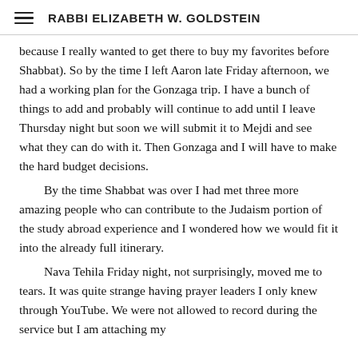RABBI ELIZABETH W. GOLDSTEIN
because I really wanted to get there to buy my favorites before Shabbat). So by the time I left Aaron late Friday afternoon, we had a working plan for the Gonzaga trip. I have a bunch of things to add and probably will continue to add until I leave Thursday night but soon we will submit it to Mejdi and see what they can do with it. Then Gonzaga and I will have to make the hard budget decisions.
By the time Shabbat was over I had met three more amazing people who can contribute to the Judaism portion of the study abroad experience and I wondered how we would fit it into the already full itinerary.
Nava Tehila Friday night, not surprisingly, moved me to tears. It was quite strange having prayer leaders I only knew through YouTube. We were not allowed to record during the service but I am attaching my